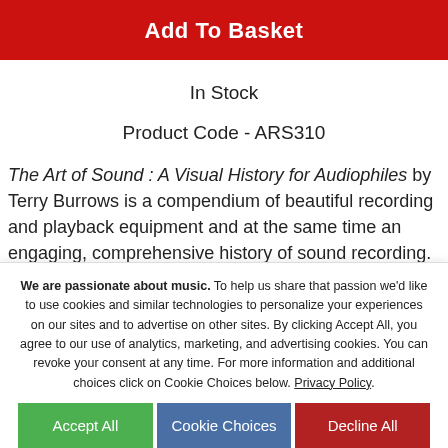Add To Basket
In Stock
Product Code - ARS310
The Art of Sound : A Visual History for Audiophiles by Terry Burrows is a compendium of beautiful recording and playback equipment and at the same time an engaging, comprehensive history of sound recording.
Organized chronologically, it showcases specially commissioned photography of the beautiful, iconic and
We are passionate about music. To help us share that passion we'd like to use cookies and similar technologies to personalize your experiences on our sites and to advertise on other sites. By clicking Accept All, you agree to our use of analytics, marketing, and advertising cookies. You can revoke your consent at any time. For more information and additional choices click on Cookie Choices below. Privacy Policy.
Accept All
Cookie Choices
Decline All